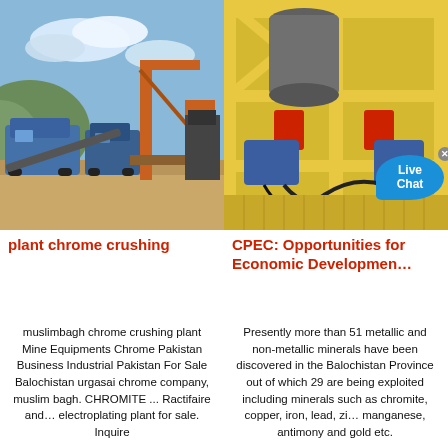[Figure (photo): Outdoor mining/crushing plant with blue machinery, conveyor belts, orange crane structure, sandy ground and cloudy blue sky background]
[Figure (photo): Indoor industrial crushing/milling equipment with yellow structural frame, blue motors, red components on a yellow scaffolding platform; Live Chat bubble visible]
plant chrome crushing
CPEC: Opportunities for Economic Developmen…
muslimbagh chrome crushing plant Mine Equipments Chrome Pakistan Business Industrial Pakistan For Sale Balochistan urgasai chrome company, muslim bagh. CHROMITE ... Ractifaire and… electroplating plant for sale. Inquire
Presently more than 51 metallic and non-metallic minerals have been discovered in the Balochistan Province out of which 29 are being exploited including minerals such as chromite, copper, iron, lead, zi… manganese, antimony and gold etc.